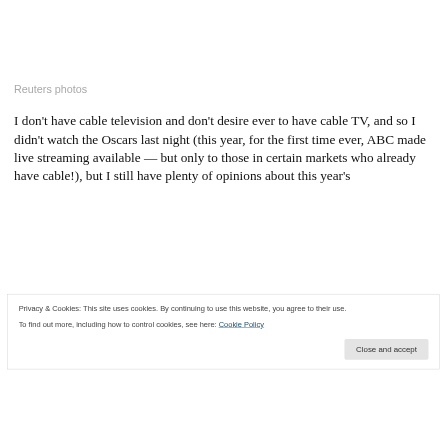Reuters photos
I don't have cable television and don't desire ever to have cable TV, and so I didn't watch the Oscars last night (this year, for the first time ever, ABC made live streaming available — but only to those in certain markets who already have cable!), but I still have plenty of opinions about this year's
Privacy & Cookies: This site uses cookies. By continuing to use this website, you agree to their use.
To find out more, including how to control cookies, see here: Cookie Policy
Close and accept